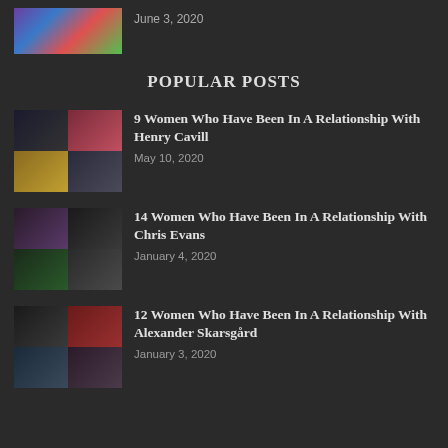June 3, 2020
POPULAR POSTS
9 Women Who Have Been In A Relationship With Henry Cavill
May 10, 2020
14 Women Who Have Been In A Relationship With Chris Evans
January 4, 2020
12 Women Who Have Been In A Relationship With Alexander Skarsgård
January 3, 2020